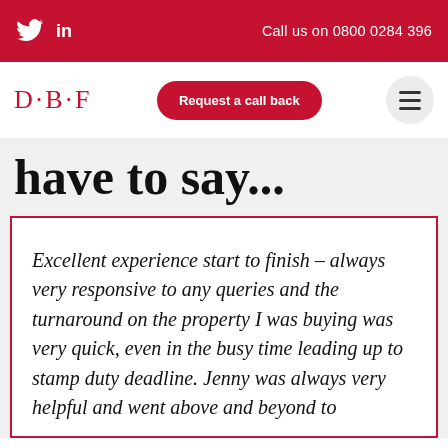Call us on 0800 0284 396
[Figure (logo): D·B·F law firm logo in red]
have to say...
Excellent experience start to finish – always very responsive to any queries and the turnaround on the property I was buying was very quick, even in the busy time leading up to stamp duty deadline. Jenny was always very helpful and went above and beyond to